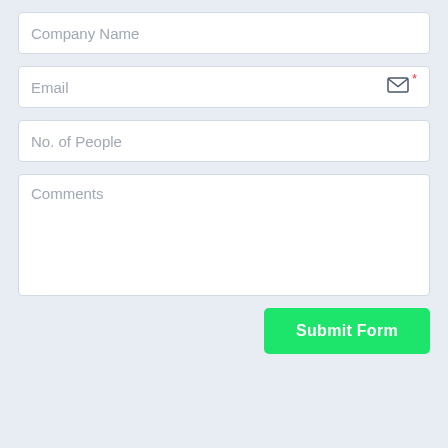Company Name
Email
No. of People
Comments
Submit Form